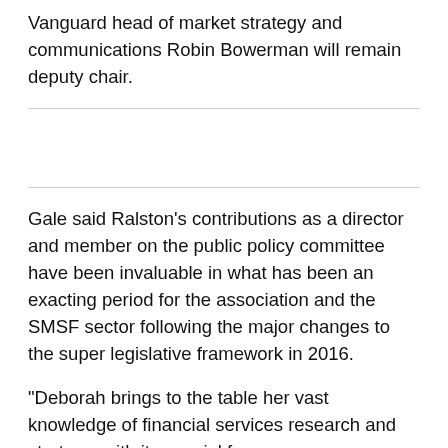Vanguard head of market strategy and communications Robin Bowerman will remain deputy chair.
Gale said Ralston’s contributions as a director and member on the public policy committee have been invaluable in what has been an exacting period for the association and the SMSF sector following the major changes to the super legislative framework in 2016.
“Deborah brings to the table her vast knowledge of financial services research and strategy, with its special focus on superannuation, financial regulation and digital finance innovation,” he said.